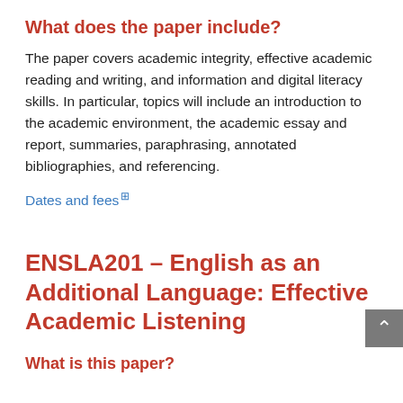What does the paper include?
The paper covers academic integrity, effective academic reading and writing, and information and digital literacy skills. In particular, topics will include an introduction to the academic environment, the academic essay and report, summaries, paraphrasing, annotated bibliographies, and referencing.
Dates and fees
ENSLA201 – English as an Additional Language: Effective Academic Listening
What is this paper?